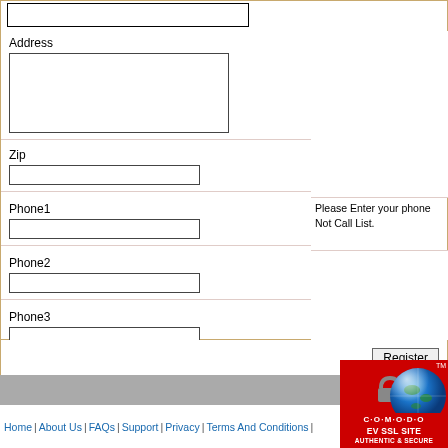Address
Zip
Phone1
Please Enter your phone  Not Call List.
Phone2
Phone3
Register
Home | About Us | FAQs | Support | Privacy | Terms And Conditions |